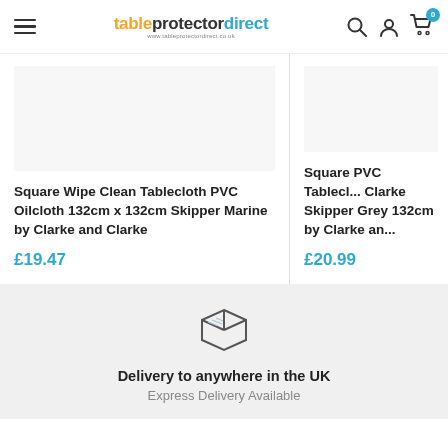tableprotectordirect — www.tableprotectordirect.co.uk
Square Wipe Clean Tablecloth PVC Oilcloth 132cm x 132cm Skipper Marine by Clarke and Clarke
£19.47
Square PVC Tablecloth Clarke Skipper Grey 132cm by Clarke and...
£20.99
[Figure (illustration): Box/package delivery icon — a simple line-art cubic box with diagonal shading lines on top face]
Delivery to anywhere in the UK
Express Delivery Available